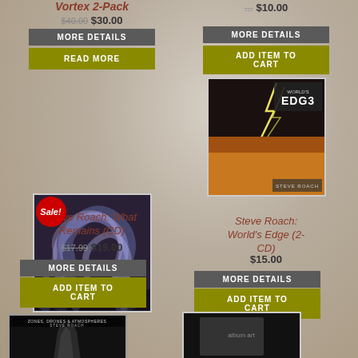Vortex 2-Pack
$40.00 $30.00
MORE DETAILS
READ MORE
$10.00
MORE DETAILS
ADD ITEM TO CART
[Figure (photo): World's Edge album cover showing lightning storm and desert landscape]
[Figure (photo): What Remains by Steve Roach album cover with blue swirling smoke, Sale! badge]
Steve Roach: What Remains (CD)
$17.99 $15.00
MORE DETAILS
ADD ITEM TO CART
Steve Roach: World's Edge (2-CD)
$15.00
MORE DETAILS
ADD ITEM TO CART
[Figure (photo): Zones, Drones & Atmospheres by Steve Roach album cover, dark with abstract sculpture]
[Figure (photo): Partial album cover visible at bottom right]